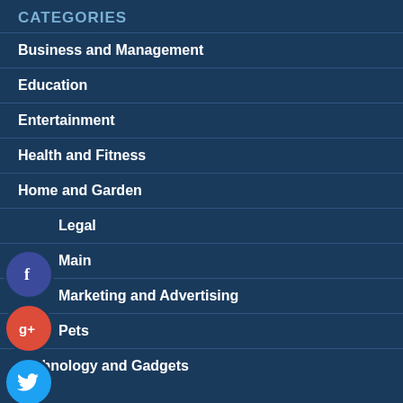CATEGORIES
Business and Management
Education
Entertainment
Health and Fitness
Home and Garden
Legal
Main
Marketing and Advertising
Pets
Technology and Gadgets